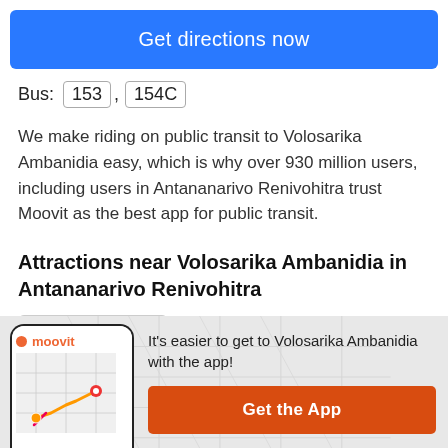[Figure (other): Blue 'Get directions now' button]
Bus: 153 , 154C
We make riding on public transit to Volosarika Ambanidia easy, which is why over 930 million users, including users in Antananarivo Renivohitra trust Moovit as the best app for public transit.
Attractions near Volosarika Ambanidia in Antananarivo Renivohitra
Autolub
[Figure (screenshot): Moovit app screenshot showing a map with a route]
It's easier to get to Volosarika Ambanidia with the app!
[Figure (other): Orange 'Get the App' button]